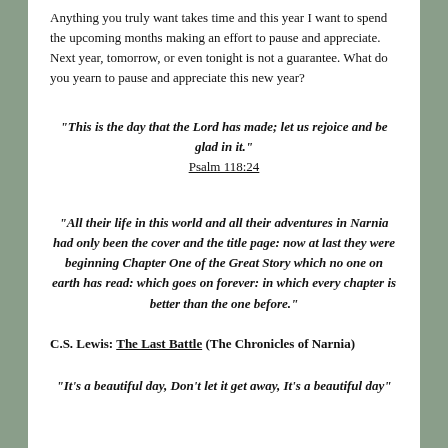Anything you truly want takes time and this year I want to spend the upcoming months making an effort to pause and appreciate. Next year, tomorrow, or even tonight is not a guarantee. What do you yearn to pause and appreciate this new year?
“This is the day that the Lord has made; let us rejoice and be glad in it.”
Psalm 118:24
“All their life in this world and all their adventures in Narnia had only been the cover and the title page: now at last they were beginning Chapter One of the Great Story which no one on earth has read: which goes on forever: in which every chapter is better than the one before.”
C.S. Lewis: The Last Battle (The Chronicles of Narnia)
“It’s a beautiful day, Don’t let it get away, It’s a beautiful day”